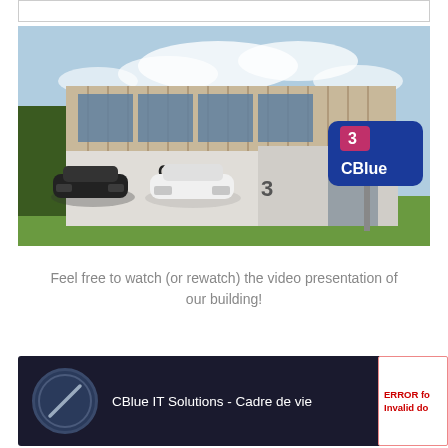[Figure (photo): Exterior photo of CBlue IT Solutions building with modern architecture, large glass windows, two Tesla cars parked outside, and a blue sign reading 'CBlue' with the number 3]
Feel free to watch (or rewatch) the video presentation of our building!
[Figure (screenshot): Video thumbnail for 'CBlue IT Solutions - Cadre de vie' showing a dark background with CBlue logo circle icon and white text title]
ERROR for Invalid do